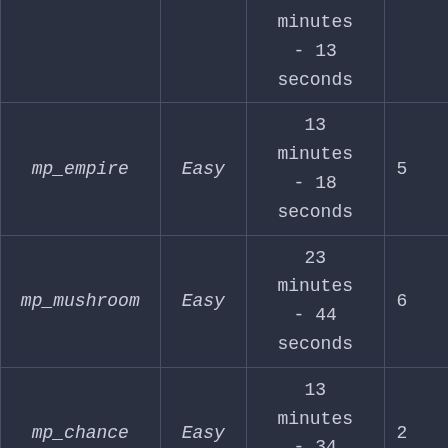| Map | Difficulty | Time |  |
| --- | --- | --- | --- |
|  |  | minutes - 13 seconds |  |
| mp_empire | Easy | 13 minutes - 18 seconds | 5 |
| mp_mushroom | Easy | 23 minutes - 44 seconds | 6 |
| mp_chance | Easy | 13 minutes - 34 seconds | 2 |